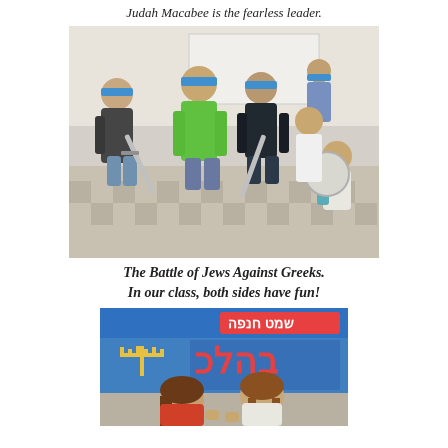Judah Macabee is the fearless leader.
[Figure (photo): Children in a classroom wearing blue headbands, pretending to fight with toy swords and shields, reenacting a battle scene.]
The Battle of Jews Against Greeks. In our class, both sides have fun!
[Figure (photo): Two young girls in a classroom decorated with Hebrew text and a menorah image on the wall, looking at something together.]